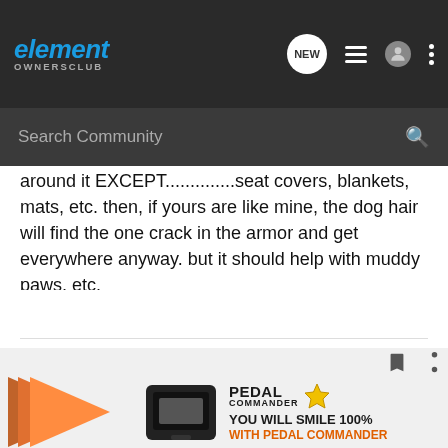element OWNERSCLUB
around it EXCEPT..............seat covers, blankets, mats, etc. then, if yours are like mine, the dog hair will find the one crack in the armor and get everywhere anyway. but it should help with muddy paws, etc.
Then, if that doesn't work you can always HOSE it out................NOT

Good luck
I've often been asked, 'What do you old folks do for fun?' Well...I'm fortunate to have a chemical engineering background,
[Figure (screenshot): Pedal Commander advertisement banner at bottom of page]